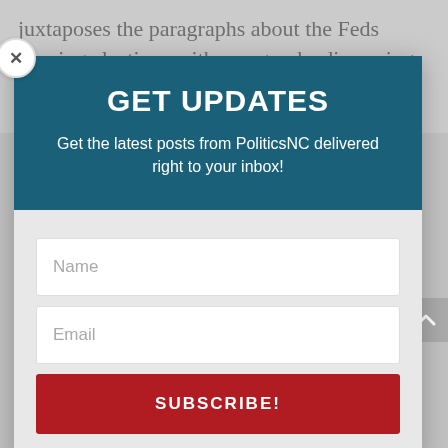juxtaposes the paragraphs about the Feds running elections with paragraphs discussing dark money, where he gets to point out that e ACLU often opposes forced disclosures of
[Figure (screenshot): Modal popup overlay with teal header saying GET UPDATES, subtitle text, and a subscription form with Name field, Email field, and SUBSCRIBE! button on gray background]